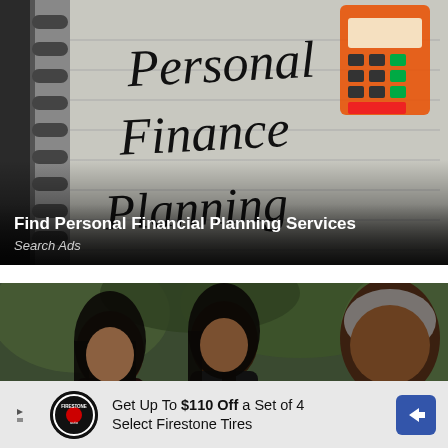[Figure (photo): Advertisement image showing a notebook with 'Personal Finance Planning' written in cursive, with a calculator and financial documents in the background]
Find Personal Financial Planning Services
Search Ads
[Figure (photo): Photo of three people (two women and a man) outdoors with green foliage in background]
[Figure (infographic): Advertisement banner: Get Up To $110 Off a Set of 4 Select Firestone Tires, with Firestone auto logo and blue arrow button]